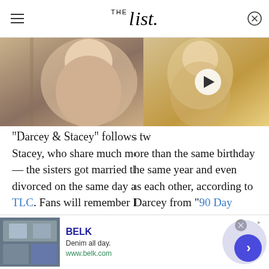THE List
[Figure (photo): Two-panel video thumbnail: left panel shows a woman with dark hair smiling, right panel shows a blonde woman with a white play button overlay]
"Darcey & Stacey" follows tw... Stacey, who share much more than the same birthday — the sisters got married the same year and even divorced on the same day as each other, according to TLC. Fans will remember Darcey from "90 Day Fiancé: Before the 90 Days," where she met Jesse on a dating app specifically for finding love abroad. After that
[Figure (screenshot): Advertisement banner for BELK: shows denim clothing images on left, BELK logo and tagline 'Denim all day.' with www.belk.com URL, and a blue arrow button on right]